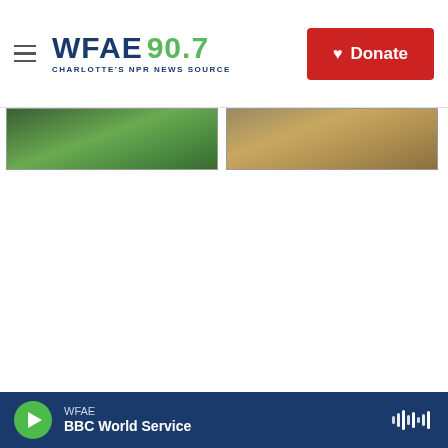WFAE 90.7 — Charlotte's NPR News Source | Donate
[Figure (photo): Two side-by-side partially visible photos cropped at the top of the page content area]
WFAE — BBC World Service (audio player bar)